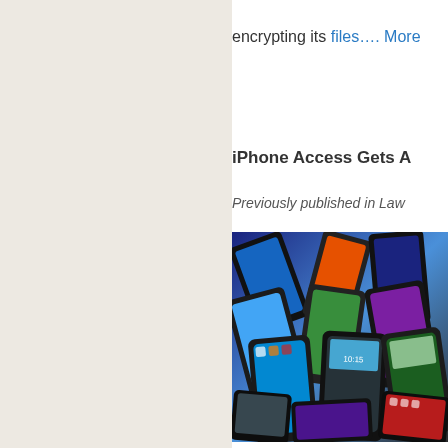encrypting its files…. More
iPhone Access Gets A
Previously published in Law
[Figure (photo): A large pile of various smartphones with colorful screens displayed, showing multiple iPhones and Android devices stacked on top of each other.]